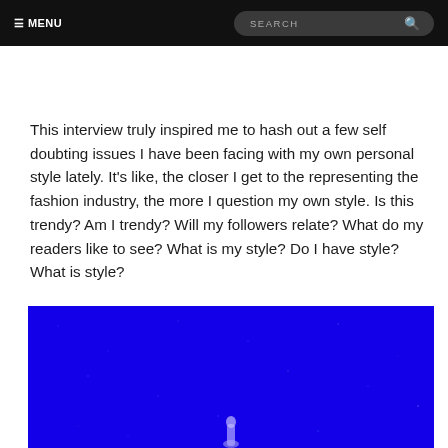≡ MENU   SEARCH
This interview truly inspired me to hash out a few self doubting issues I have been facing with my own personal style lately. It's like, the closer I get to the representing the fashion industry, the more I question my own style. Is this trendy? Am I trendy? Will my followers relate? What do my readers like to see? What is my style? Do I have style? What is style?
[Figure (photo): A deep blue background image with a small partially visible figure/object at the bottom center, resembling a fashion or artistic photo with a vivid electric blue color.]